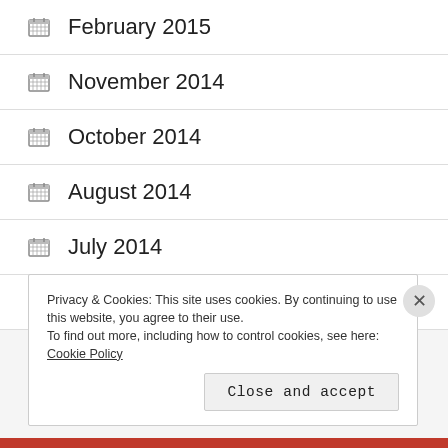February 2015
November 2014
October 2014
August 2014
July 2014
April 2014
Privacy & Cookies: This site uses cookies. By continuing to use this website, you agree to their use.
To find out more, including how to control cookies, see here: Cookie Policy
Close and accept